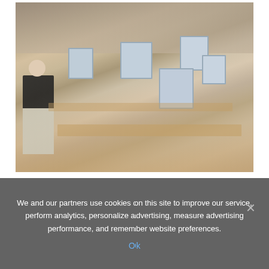[Figure (photo): An overhead view of a busy open-plan office with long wooden desks, multiple computer monitors, and many workers. A man in a black blazer stands to the left in the foreground.]
Weblogs founder Jason Calacanis owns the Model S serial number 00001. (Stephen Osman/Los Angeles Times via Getty Images)
We and our partners use cookies on this site to improve our service, perform analytics, personalize advertising, measure advertising performance, and remember website preferences.